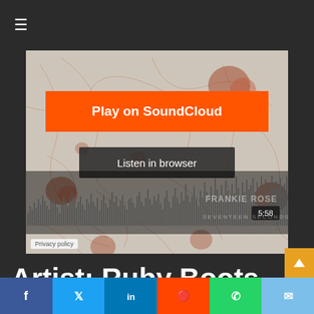≡
[Figure (screenshot): SoundCloud embedded player showing artwork with abstract line drawing, orange Play on SoundCloud button, Listen in browser button, waveform visualization, track info showing FRANKIE ROSE - SEVENTEEN SECONDS with duration 5:58, and Privacy policy link]
Artist: Ruby Boots
[Figure (infographic): Social share bar with Facebook, Twitter, LinkedIn, Reddit, WhatsApp, and Email share buttons]